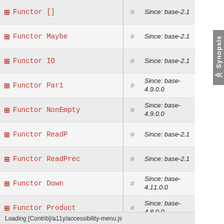Functor [] Since: base-2.1
Functor Maybe Since: base-2.1
Functor IO Since: base-2.1
Functor Par1 Since: base-4.9.0.0
Functor NonEmpty Since: base-4.9.0.0
Functor ReadP Since: base-2.1
Functor ReadPrec Since: base-2.1
Functor Down Since: base-4.11.0.0
Functor Product Since: base-4.8.0.0
Functor Sum Since: base-4.8.0.0
Functor Dual Since: base-4.8.0.0
Functor [partial] Since: base-...
Loading [Contrib]/a11y/accessibility-menu.js